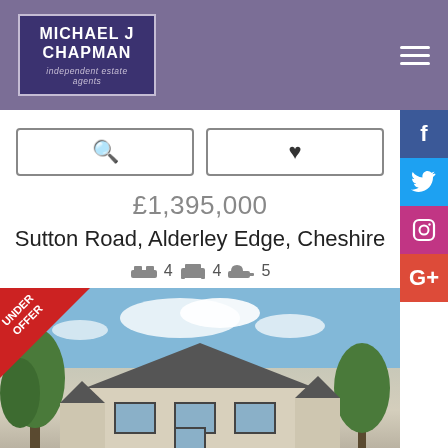[Figure (logo): Michael J Chapman independent estate agents logo — dark purple box with white text and grey border]
£1,395,000
Sutton Road, Alderley Edge, Cheshire
4 bedrooms, 4 reception rooms, 5 bathrooms
[Figure (photo): Exterior photo of a detached house on Sutton Road, Alderley Edge, Cheshire. A modern bungalow/house with grey roof, cream render walls, and dark window frames. Trees visible on either side. 'Under Offer' red triangle banner in top-left corner.]